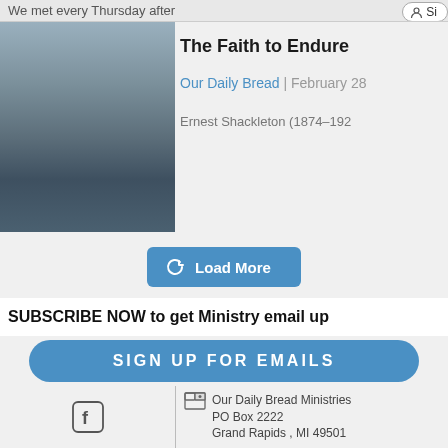We met every Thursday after
The Faith to Endure
Our Daily Bread | February 28
Ernest Shackleton (1874–192…
Load More
SUBSCRIBE NOW to get Ministry email up
SIGN UP FOR EMAILS
Our Daily Bread Ministries
PO Box 2222
Grand Rapids , MI 49501
(616) 974-2210
odb@odb.org